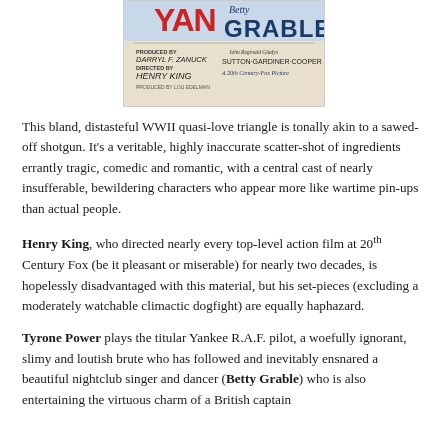[Figure (illustration): Movie poster for a WWII-era film featuring Betty Grable, produced by Darryl F. Zanuck, directed by Henry King, with John Sutton, Reginald Gardiner, Gladys Cooper. A 20th Century-Fox Picture.]
This bland, distasteful WWII quasi-love triangle is tonally akin to a sawed-off shotgun. It's a veritable, highly inaccurate scatter-shot of ingredients errantly tragic, comedic and romantic, with a central cast of nearly insufferable, bewildering characters who appear more like wartime pin-ups than actual people.
Henry King, who directed nearly every top-level action film at 20th Century Fox (be it pleasant or miserable) for nearly two decades, is hopelessly disadvantaged with this material, but his set-pieces (excluding a moderately watchable climactic dogfight) are equally haphazard.
Tyrone Power plays the titular Yankee R.A.F. pilot, a woefully ignorant, slimy and loutish brute who has followed and inevitably ensnared a beautiful nightclub singer and dancer (Betty Grable) who is also entertaining the virtuous charm of a British captain